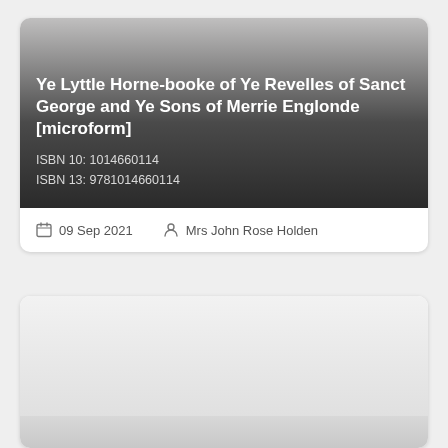Ye Lyttle Horne-booke of Ye Revelles of Sanct George and Ye Sons of Merrie Englonde [microform]
ISBN 10: 1014660114
ISBN 13: 9781014660114
09 Sep 2021   Mrs John Rose Holden